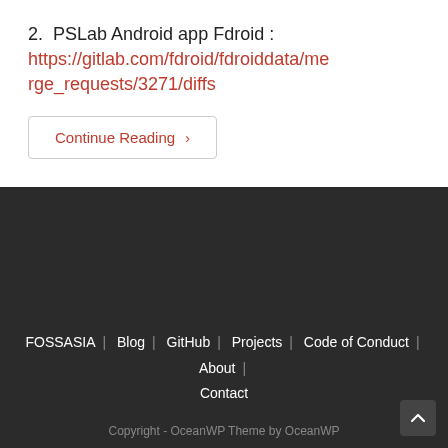2. PSLab Android app Fdroid : https://gitlab.com/fdroid/fdroiddata/merge_requests/3271/diffs
Continue Reading ›
FOSSASIA | Blog | GitHub | Projects | Code of Conduct | About | Contact
Copyright - OceanWP Theme by OceanWP